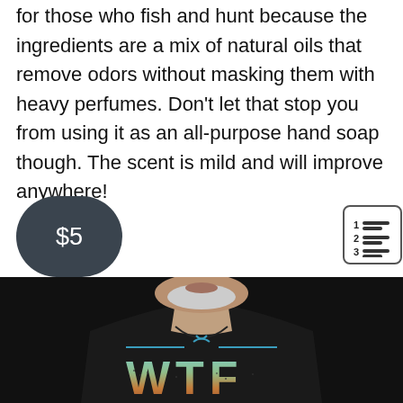for those who fish and hunt because the ingredients are a mix of natural oils that remove odors without masking them with heavy perfumes. Don't let that stop you from using it as an all-purpose hand soap though. The scent is mild and will improve anywhere!
$5
[Figure (illustration): Numbered list icon — a small icon showing '1 2 3' with horizontal lines next to each number, inside a rounded rectangle border]
[Figure (photo): Photo of an older man with a grey beard wearing a black t-shirt that reads 'WTF' with a fishing hook graphic and horizontal lines above the text, suggesting 'What The Fish' fishing humor apparel]